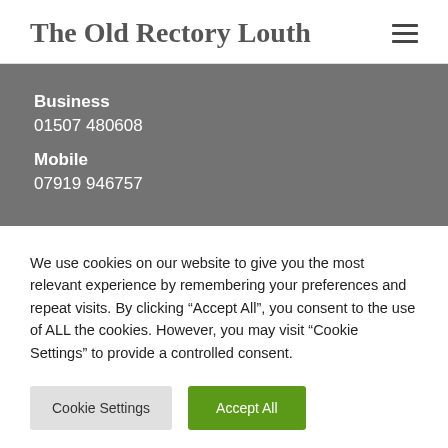The Old Rectory Louth
Business
01507 480608
Mobile
07919 946757
We use cookies on our website to give you the most relevant experience by remembering your preferences and repeat visits. By clicking “Accept All”, you consent to the use of ALL the cookies. However, you may visit “Cookie Settings” to provide a controlled consent.
Cookie Settings | Accept All